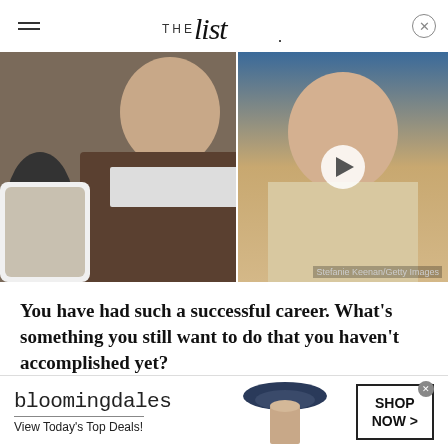THE List
[Figure (photo): Hero image: man in leather jacket on left, blonde woman on right with video play button overlay. Photo credit: Stefanie Keenan/Getty Images]
You have had such a successful career. What's something you still want to do that you haven't accomplished yet?
You know what? I come from a place of gratitude. I feel very lucky to have the career that I have and to
[Figure (other): Bloomingdales advertisement banner: bloomingdales logo, View Today's Top Deals!, woman with hat, SHOP NOW >]